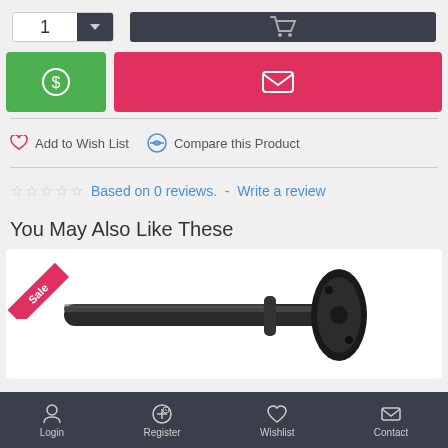[Figure (screenshot): Quantity selector with number 1 and dropdown arrow, and dark cart button with cart icon]
[Figure (screenshot): Green dollar-sign button and red email/contact button]
Add to Wish List   Compare this Product
☆☆☆☆☆  Based on 0 reviews.  -  Write a review
You May Also Like These
[Figure (photo): Product photo of a black mechanical shaft/rod component with a flanged end, with a Sale badge in the top-left corner]
Login   Register   Wishlist   Contact